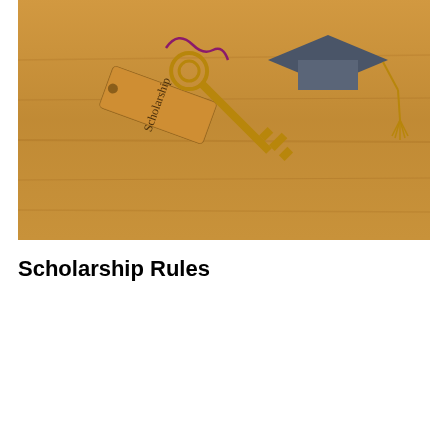[Figure (photo): A photo showing a scholarship key tag (a brown rectangular card tag with 'Scholarship' written vertically in dark serif font, attached via purple cord to a brass/gold antique key), alongside a small dark gray graduation cap (mortarboard) with gold tassel, all resting on a warm wooden surface.]
Scholarship Rules